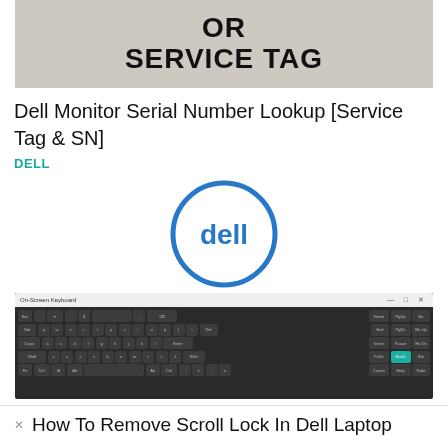[Figure (photo): Top portion of a sign or image showing bold text 'OR SERVICE TAG' on a grayish textured background]
Dell Monitor Serial Number Lookup [Service Tag & SN]
DELL
[Figure (logo): Dell logo - blue circle with Dell text in the center]
[Figure (screenshot): On-Screen Keyboard application screenshot showing a dark keyboard layout with the ScrLk key highlighted in teal/cyan color]
How To Remove Scroll Lock In Dell Laptop